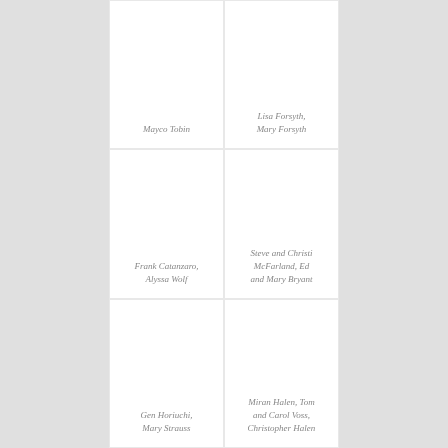Mayco Tobin
Lisa Forsyth, Mary Forsyth
Frank Catanzaro, Alyssa Wolf
Steve and Christi McFarland, Ed and Mary Bryant
Gen Horiuchi, Mary Strauss
Miran Halen, Tom and Carol Voss, Christopher Halen